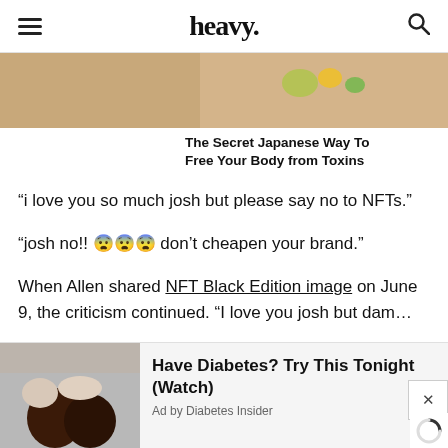heavy.
[Figure (photo): Partial view of an ad image with colorful flowers/objects on skin, cropped at top of page]
The Secret Japanese Way To Free Your Body from Toxins
“i love you so much josh but please say no to NFTs.”
“josh no!! 😨😨😨 don’t cheapen your brand.”
When Allen shared NFT Black Edition image on June 9, the criticism continued. “I love you josh but dam…
[Figure (photo): Hand holding dark round objects (nuts or seeds), bottom-left ad image]
Have Diabetes? Try This Tonight (Watch)
Ad by Diabetes Insider